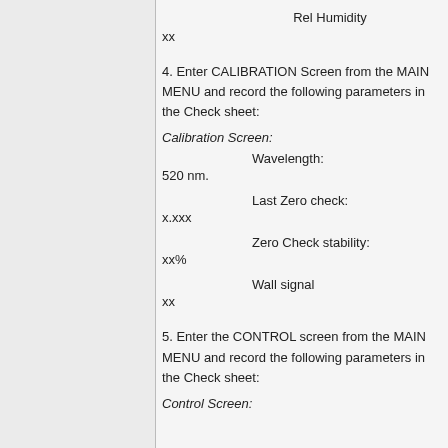Rel Humidity
xx
4. Enter CALIBRATION Screen from the MAIN MENU and record the following parameters in the Check sheet:
Calibration Screen:
Wavelength:
520 nm.
Last Zero check:
x.xxx
Zero Check stability:
xx%
Wall signal
xx
5. Enter the CONTROL screen from the MAIN MENU and record the following parameters in the Check sheet:
Control Screen: